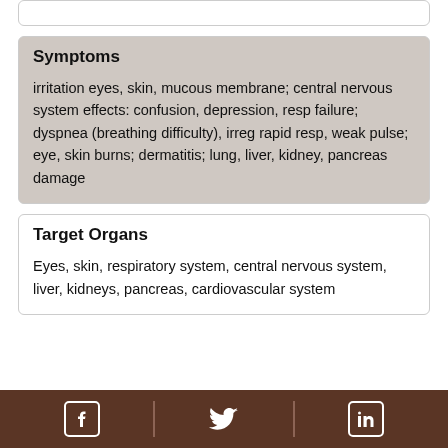Symptoms
irritation eyes, skin, mucous membrane; central nervous system effects: confusion, depression, resp failure; dyspnea (breathing difficulty), irreg rapid resp, weak pulse; eye, skin burns; dermatitis; lung, liver, kidney, pancreas damage
Target Organs
Eyes, skin, respiratory system, central nervous system, liver, kidneys, pancreas, cardiovascular system
Social media icons: Facebook, Twitter, LinkedIn